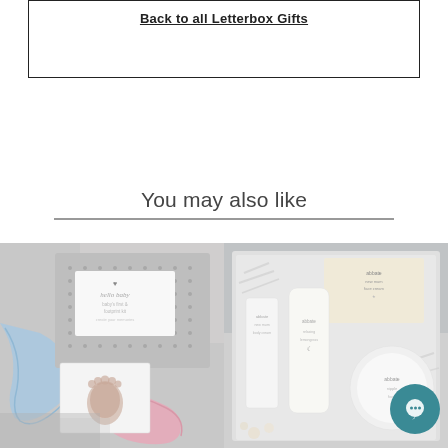Back to all Letterbox Gifts
You may also like
[Figure (photo): Baby letterbox gift set with grey polka dot box, footprint card, blue and pink ribbons on grey background]
[Figure (photo): Letterbox gift set with beauty products including candle, cream tube, and tin in silver gift box with shredded paper, flowers in background, with chat bubble overlay]